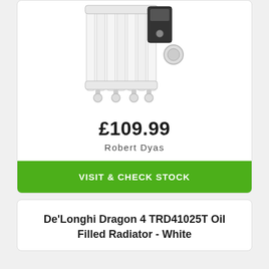[Figure (photo): White oil-filled radiator with control panel at top, dial knob on right side, and four caster wheels at the bottom]
£109.99
Robert Dyas
VISIT & CHECK STOCK
De'Longhi Dragon 4 TRD41025T Oil Filled Radiator - White